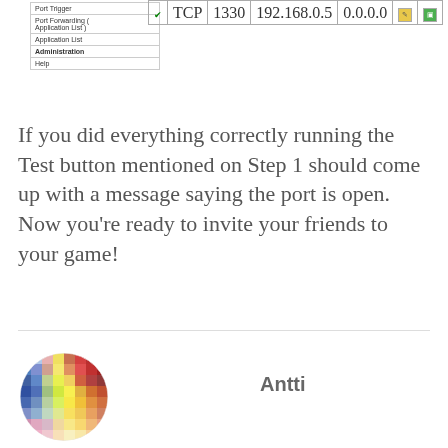[Figure (screenshot): Router admin panel screenshot showing navigation menu with Port Trigger, Port Forwarding (Application List), Application List, Administration, Help entries, and a port forwarding table row with checkmark, TCP, 1330, 192.168.0.5, 0.0.0.0, edit and delete buttons]
If you did everything correctly running the Test button mentioned on Step 1 should come up with a message saying the port is open. Now you're ready to invite your friends to your game!
[Figure (photo): Circular avatar image with colorful pixelated/mosaic pattern in multiple colors including blue, red, yellow, pink, green]
Antti